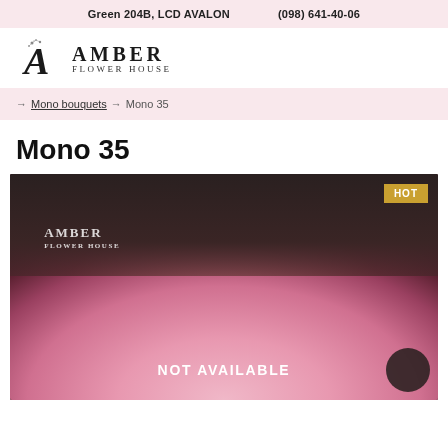Green 204B, LCD AVALON    (098) 641-40-06
[Figure (logo): Amber Flower House logo with decorative A letter and floral illustration]
→ Mono bouquets → Mono 35
Mono 35
[Figure (photo): Photo of person wearing Amber Flower House apron holding a bouquet of pink peonies. HOT badge in top right corner. NOT AVAILABLE text overlay at bottom center. Dark circle button at bottom right.]